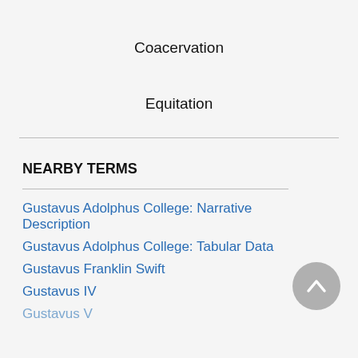Coacervation
Equitation
NEARBY TERMS
Gustavus Adolphus College: Narrative Description
Gustavus Adolphus College: Tabular Data
Gustavus Franklin Swift
Gustavus IV
Gustavus V